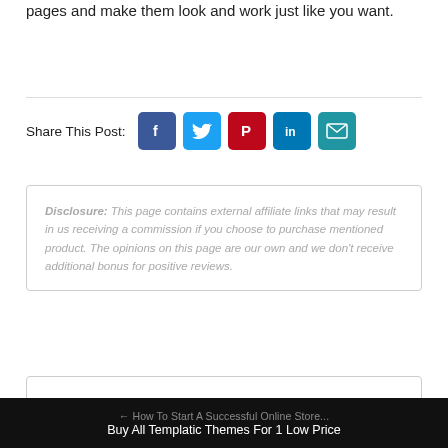pages and make them look and work just like you want.
Share This Post:
[Figure (infographic): Social media share buttons: Facebook, Twitter, Pinterest, LinkedIn, Email]
Disclosure: This page contains external affiliate links that may result in us receiving a commission if you choose to purchase mentioned product. The opinions on this page are our own and we don't receive additional bonus for positive reviews.
← How To Start A Successful Online Store...
Buy All Templatic Themes For 1 Low Price